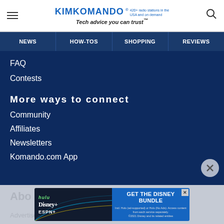KIMKOMANDO® 420+ radio stations in the USA and on demand — Tech advice you can trust™
NEWS
HOW-TOS
SHOPPING
REVIEWS
FAQ
Contests
More ways to connect
Community
Affiliates
Newsletters
Komando.com App
[Figure (screenshot): Disney Bundle advertisement banner showing Hulu, Disney+, ESPN+ logos with GET THE DISNEY BUNDLE call-to-action and fine print about Hulu ad-supported or No Ads options]
Abo
Advertise with us